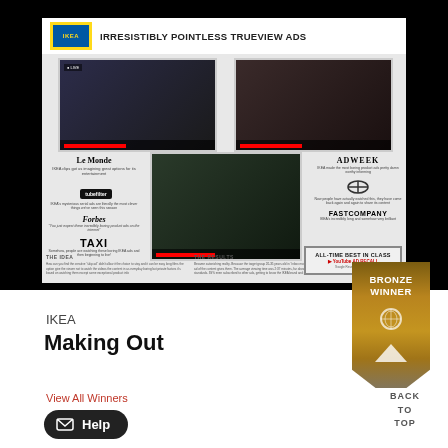[Figure (screenshot): IKEA Irresistibly Pointless TrueView Ads campaign presentation showing video thumbnails, press logos (Le Monde, Tubefilter, Forbes, TAXI, ADWEEK, NBC, Fast Company), and campaign details including The Idea and The Results sections, with All-Time Best In Class YouTube Ad Recall badge]
IKEA
Making Out
View All Winners
Help
[Figure (other): Bronze Winner award badge]
BACK TO TOP